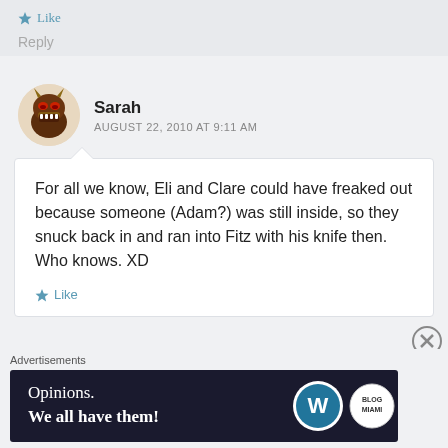★ Like
Reply
Sarah
AUGUST 22, 2010 AT 9:11 AM
For all we know, Eli and Clare could have freaked out because someone (Adam?) was still inside, so they snuck back in and ran into Fitz with his knife then. Who knows. XD
★ Like
Advertisements
[Figure (screenshot): Advertisement banner: dark navy background with text 'Opinions. We all have them!' and WordPress logo and another circular logo on the right]